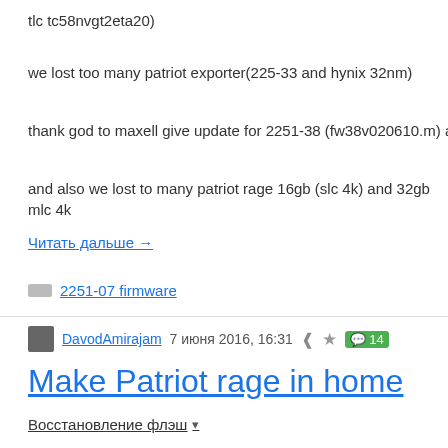tlc tc58nvgt2eta20)
we lost too many patriot exporter(225-33 and hynix 32nm)
thank god to maxell give update for 2251-38 (fw38v020610.m) and give n
and also we lost to many patriot rage 16gb (slc 4k) and 32gb mlc 4k
Читать дальше →
2251-07 firmware
DavodAmirajam  7 июня 2016, 16:31  14
Make Patriot rage in home
Восстановление флэш